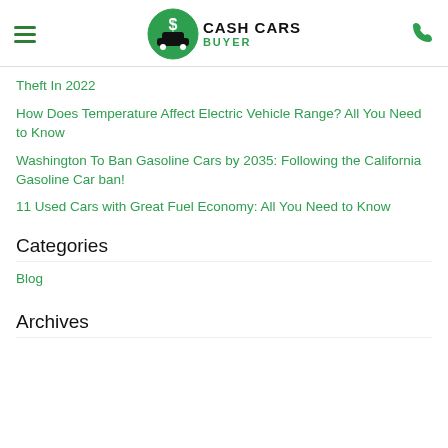Cash Cars Buyer
Theft In 2022
How Does Temperature Affect Electric Vehicle Range? All You Need to Know
Washington To Ban Gasoline Cars by 2035: Following the California Gasoline Car ban!
11 Used Cars with Great Fuel Economy: All You Need to Know
Categories
Blog
Archives